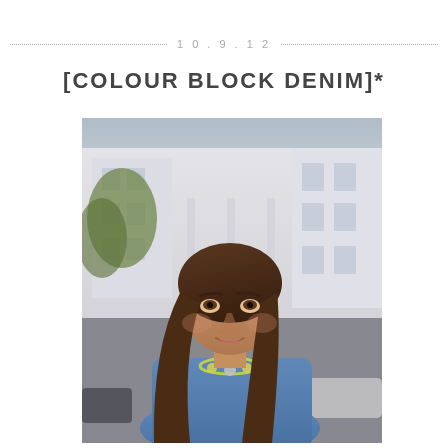10.9.12
[COLOUR BLOCK DENIM]*
[Figure (photo): A woman with long brown hair wearing a denim shirt with a statement necklace, photographed outdoors in front of white Georgian-style buildings, street scene in London]